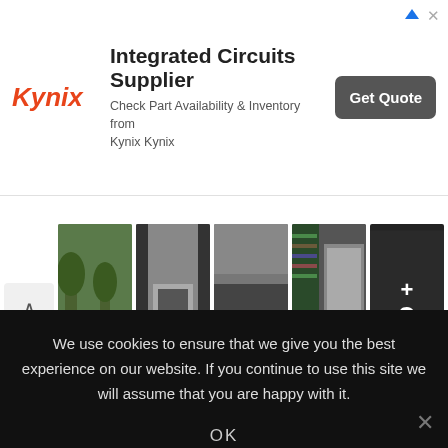[Figure (infographic): Kynix advertisement banner with logo, text about Integrated Circuits Supplier, and Get Quote button]
[Figure (photo): Horizontal row of 5 architectural interior/exterior thumbnail photos with up-arrow and +9 overlay on last]
[Figure (infographic): Dark background section with purple BECOME text, geometric diamond shape, dot pattern decoration]
We use cookies to ensure that we give you the best experience on our website. If you continue to use this site we will assume that you are happy with it.
OK